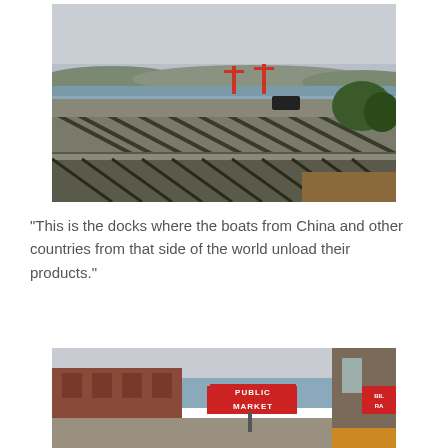[Figure (photo): Outdoor photo of Seattle docks area showing overpass/bridge structure in foreground, waterfront with large red cargo cranes visible in the background on Puget Sound, trees on the right, overcast sky, a dark vehicle on the road.]
“This is the docks where the boats from China and other countries from that side of the world unload their products.”
[Figure (photo): Outdoor photo showing the Pike Place Public Market sign (red neon letters reading PUBLIC MARKET) in Seattle, with brick buildings on the left, Puget Sound water visible in the background, overcast sky, and a partial view of another building on the right.]